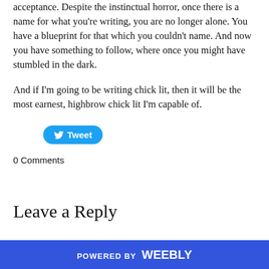acceptance. Despite the instinctual horror, once there is a name for what you're writing, you are no longer alone. You have a blueprint for that which you couldn't name. And now you have something to follow, where once you might have stumbled in the dark.
And if I'm going to be writing chick lit, then it will be the most earnest, highbrow chick lit I'm capable of.
[Figure (other): Tweet button with Twitter bird icon]
0 Comments
Leave a Reply
POWERED BY weebly